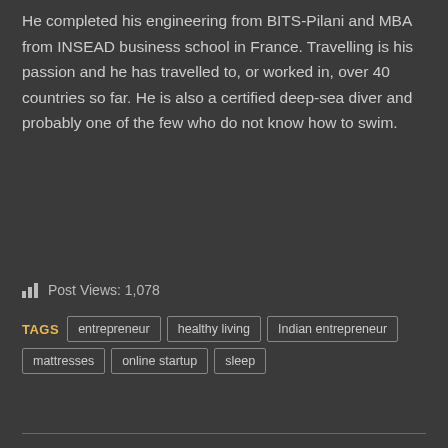He completed his engineering from BITS-Pilani and MBA from INSEAD business school in France. Travelling is his passion and he has travelled to, or worked in, over 40 countries so far. He is also a certified deep-sea diver and probably one of the few who do not know how to swim.
Post Views: 1,078
TAGS  entrepreneur  healthy living  Indian entrepreneur  mattresses  online startup  sleep